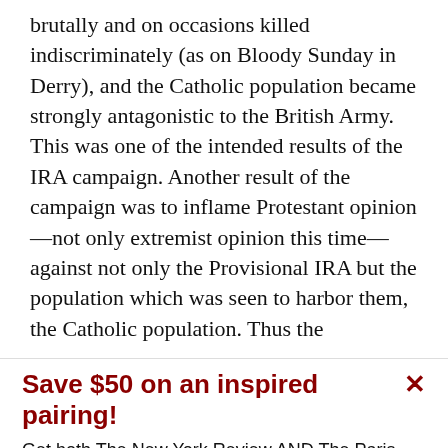brutally and on occasions killed indiscriminately (as on Bloody Sunday in Derry), and the Catholic population became strongly antagonistic to the British Army. This was one of the intended results of the IRA campaign. Another result of the campaign was to inflame Protestant opinion—not only extremist opinion this time—against not only the Provisional IRA but the population which was seen to harbor them, the Catholic population. Thus the
Save $50 on an inspired pairing!
Get both The New York Review AND The Paris Review at one low price.
See offer   Already a subscriber?  Sign in